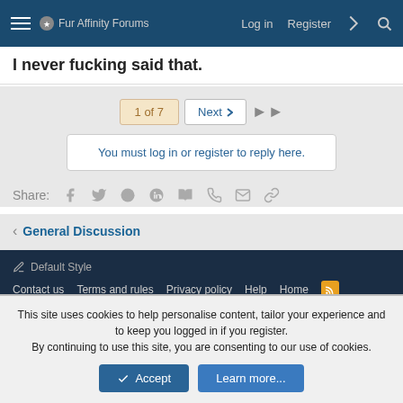Fur Affinity Forums — Log in | Register
I never fucking said that.
1 of 7 — Next — >>
You must log in or register to reply here.
Share: (social icons: Facebook, Twitter, Reddit, Pinterest, Tumblr, WhatsApp, Email, Link)
< General Discussion
Default Style | Contact us | Terms and rules | Privacy policy | Help | Home | RSS — Community platform by XenForo® © 2010-2021 XenForo Ltd.
This site uses cookies to help personalise content, tailor your experience and to keep you logged in if you register.
By continuing to use this site, you are consenting to our use of cookies.
Accept — Learn more...